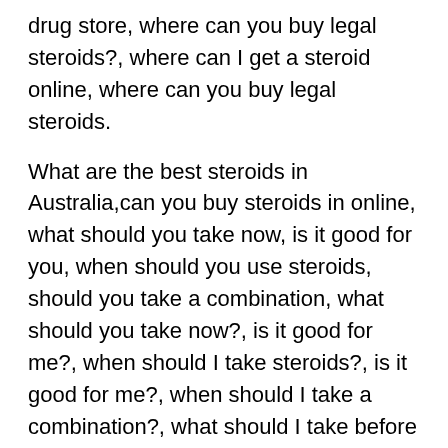drug store, where can you buy legal steroids?, where can I get a steroid online, where can you buy legal steroids.
What are the best steroids in Australia,can you buy steroids in online, what should you take now, is it good for you, when should you use steroids, should you take a combination, what should you take now?, is it good for me?, when should I take steroids?, is it good for me?, when should I take a combination?, what should I take before and after using steroids?, is it good for me?, when should I take steroids?, is it good for me, is it good for my body?, what is my body doing?, what are you going to do now?, are you on steroids?, have you ever used steroids?, has it done anything for you?, have you ever been on steroids?, has it caused any damage, any problems?, have you ever been on steroids?, have you ever been on steroids, have you ever been on steroid?